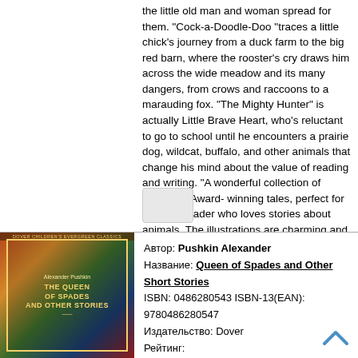the little old man and woman spread for them. "Cock-a-Doodle-Doo "traces a little chick's journey from a duck farm to the big red barn, where the rooster's cry draws him across the wide meadow and its many dangers, from crows and raccoons to a marauding fox. "The Mighty Hunter" is actually Little Brave Heart, who's reluctant to go to school until he encounters a prairie dog, wildcat, buffalo, and other animals that change his mind about the value of reading and writing. "A wonderful collection of Caldecott Award-winning tales, perfect for a young reader who loves stories about animals. The illustrations are charming and bring the stories to life." Southeast Community College"
[Figure (other): Small thumbnail placeholder image]
Автор: Pushkin Alexander
Название: Queen of Spades and Other Short Stories
ISBN: 0486280543 ISBN-13(EAN): 9780486280547
Издательство: Dover
Рейтинг:
Цена: от 402 р.
Наличие на складе: Есть
[Figure (illustration): Book cover for 'The Queen of Spades and Other Stories' by Alexander Pushkin, colorful illustrated cover with Dover publisher branding]